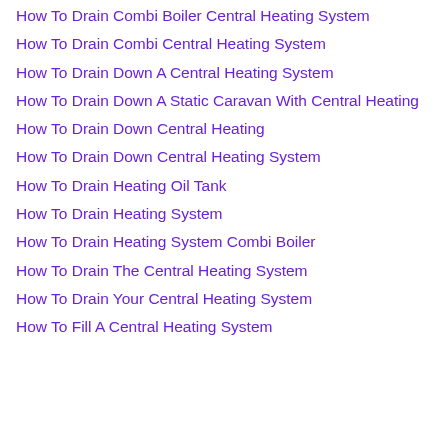How To Drain Combi Boiler Central Heating System
How To Drain Combi Central Heating System
How To Drain Down A Central Heating System
How To Drain Down A Static Caravan With Central Heating
How To Drain Down Central Heating
How To Drain Down Central Heating System
How To Drain Heating Oil Tank
How To Drain Heating System
How To Drain Heating System Combi Boiler
How To Drain The Central Heating System
How To Drain Your Central Heating System
How To Fill A Central Heating System